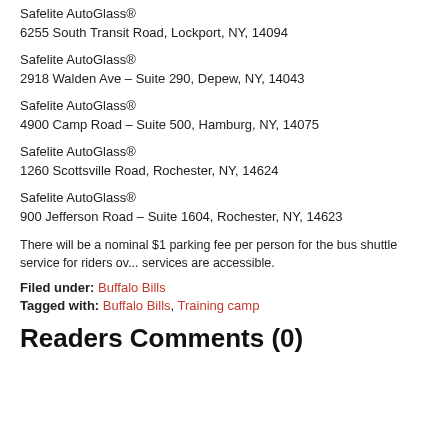Safelite AutoGlass®
6255 South Transit Road, Lockport, NY, 14094
Safelite AutoGlass®
2918 Walden Ave – Suite 290, Depew, NY, 14043
Safelite AutoGlass®
4900 Camp Road – Suite 500, Hamburg, NY, 14075
Safelite AutoGlass®
1260 Scottsville Road, Rochester, NY, 14624
Safelite AutoGlass®
900 Jefferson Road – Suite 1604, Rochester, NY, 14623
There will be a nominal $1 parking fee per person for the bus shuttle service for riders ov... services are accessible.
Filed under: Buffalo Bills
Tagged with: Buffalo Bills, Training camp
Readers Comments (0)